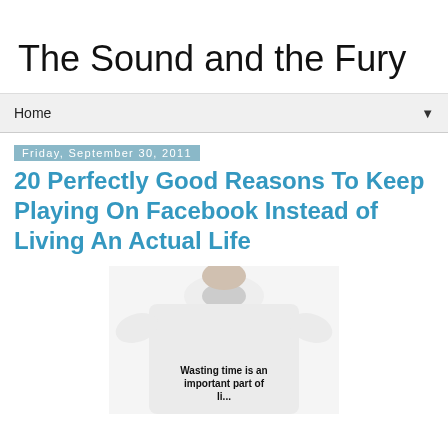The Sound and the Fury
Home
Friday, September 30, 2011
20 Perfectly Good Reasons To Keep Playing On Facebook Instead of Living An Actual Life
[Figure (photo): Person wearing a white long-sleeve t-shirt with text 'Wasting time is an important part of li...' printed on it]